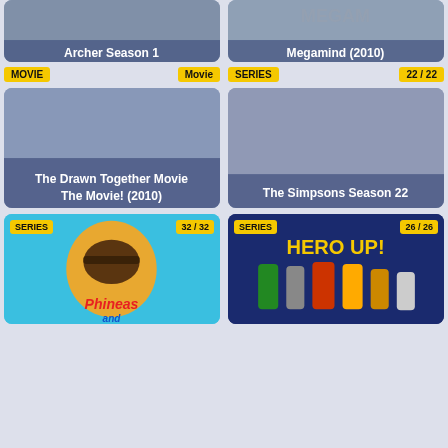[Figure (screenshot): Archer Season 1 thumbnail card, partially cropped at top]
[Figure (screenshot): Megamind (2010) thumbnail card, partially cropped at top]
MOVIE | Movie
SERIES | 22 / 22
[Figure (screenshot): The Drawn Together Movie The Movie! (2010) thumbnail card]
[Figure (screenshot): The Simpsons Season 22 thumbnail card]
[Figure (screenshot): Phineas and Ferb series thumbnail - SERIES, 32/32]
[Figure (screenshot): Marvel Super Hero Squad Hero Up! - SERIES, 26/26]